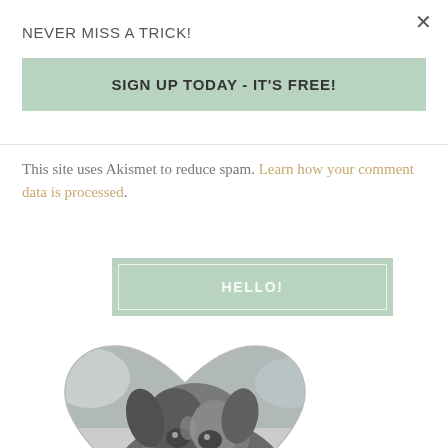×
NEVER MISS A TRICK!
SIGN UP TODAY - IT'S FREE!
This site uses Akismet to reduce spam. Learn how your comment data is processed.
HELLO!
[Figure (photo): Black and white heart-shaped photo of a scruffy dog looking at the camera]